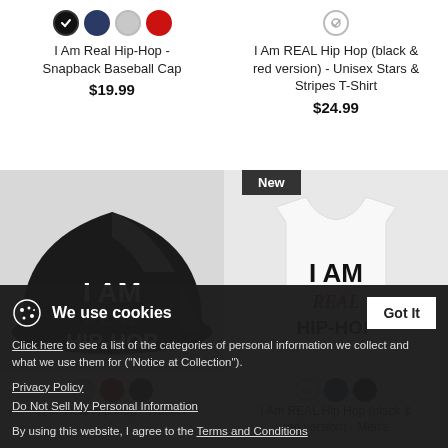[Figure (screenshot): Product listing page showing hip-hop merchandise with cookie consent banner overlay]
I Am Real Hip-Hop - Snapback Baseball Cap
$19.99
I Am REAL Hip Hop (black & red version) - Unisex Stars & Stripes T-Shirt
$24.99
New
We use cookies
Got It
Click here to see a list of the categories of personal information we collect and what we use them for ("Notice at Collection").
Privacy Policy
Do Not Sell My Personal Information
By using this website, I agree to the Terms and Conditions
I Am Real Hip-Hop - Trucker
I Am REAL Hip Hop (black & red version) - Men's